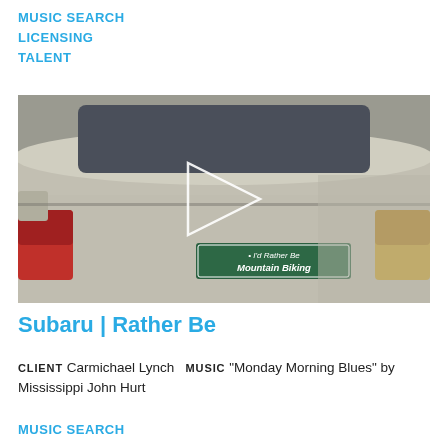MUSIC SEARCH
LICENSING
TALENT
[Figure (screenshot): Video thumbnail showing the rear of a silver/beige car with a bumper sticker reading 'I'd Rather Be Mountain Biking', with a white play button triangle overlay in the center.]
Subaru | Rather Be
CLIENT Carmichael Lynch  MUSIC "Monday Morning Blues" by Mississippi John Hurt
MUSIC SEARCH